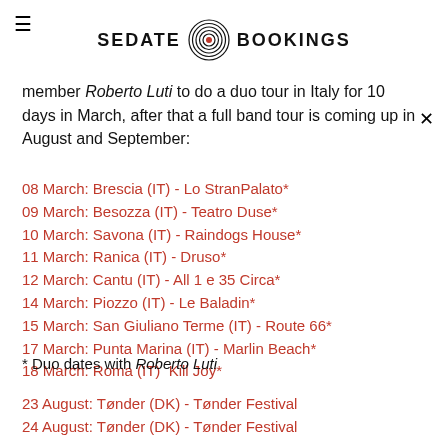SEDATE BOOKINGS
member Roberto Luti to do a duo tour in Italy for 10 days in March, after that a full band tour is coming up in August and September:
08 March: Brescia (IT) - Lo StranPalato*
09 March: Besozza (IT) - Teatro Duse*
10 March: Savona (IT) - Raindogs House*
11 March: Ranica (IT) - Druso*
12 March: Cantu (IT) - All 1 e 35 Circa*
14 March: Piozzo (IT) - Le Baladin*
15 March: San Giuliano Terme (IT) - Route 66*
17 March: Punta Marina (IT) - Marlin Beach*
18 March: Roma (IT)  Kill Joy*
* Duo dates with Roberto Luti
23 August: Tønder (DK) - Tønder Festival
24 August: Tønder (DK) - Tønder Festival